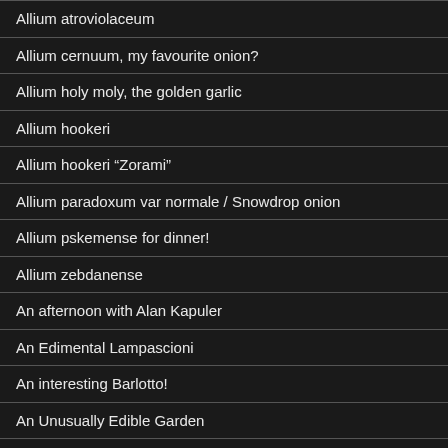Allium atroviolaceum
Allium cernuum, my favourite onion?
Allium holy moly, the golden garlic
Allium hookeri
Allium hookeri “Zorami”
Allium paradoxum var normale / Snowdrop onion
Allium pskemense for dinner!
Allium zebdanense
An afternoon with Alan Kapuler
An Edimental Lampascioni
An interesting Barlotto!
An Unusually Edible Garden
Anemone rivularis